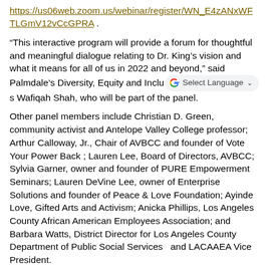https://us06web.zoom.us/webinar/register/WN_E4zANxWFTLGmV12vCcGPRA .
“This interactive program will provide a forum for thoughtful and meaningful dialogue relating to Dr. King’s vision and what it means for all of us in 2022 and beyond,” said Palmdale’s Diversity, Equity and Inclusion [Select Language] Wafiqah Shah, who will be part of the panel.
Other panel members include Christian D. Green, community activist and Antelope Valley College professor; Arthur Calloway, Jr., Chair of AVBCC and founder of Vote Your Power Back ; Lauren Lee, Board of Directors, AVBCC; Sylvia Garner, owner and founder of PURE Empowerment Seminars; Lauren DeVine Lee, owner of Enterprise Solutions and founder of Peace & Love Foundation; Ayinde Love, Gifted Arts and Activism; Anicka Phillips, Los Angeles County African American Employees Association; and Barbara Watts, District Director for Los Angeles County Department of Public Social Services  and LACAAEA Vice President.